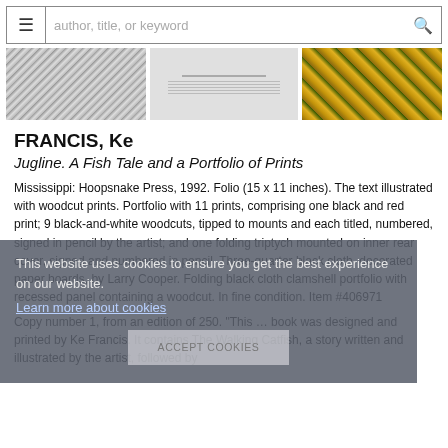≡  author, title, or keyword  🔍
[Figure (photo): Three thumbnail images of book/artwork: left shows diagonal line texture, center shows an open book spread, right shows colorful geometric shapes]
FRANCIS, Ke
Jugline. A Fish Tale and a Portfolio of Prints
Mississippi: Hoopsnake Press, 1992. Folio (15 x 11 inches). The text illustrated with woodcut prints. Portfolio with 11 prints, comprising one black and red print; 9 black-and-white woodcuts, tipped to mounts and each titled, numbered, signed in pencil by the artist; and one folding triptych mounted on inner rear cover, signed and numbered in pencil. Three-quarter black cloth, decorated paper boards, by Larry Cooper. Folding black cloth clamshell portfolio with recessed panel containing a woodcut. In fine condition. Item #406971
Copy number 1, from an edition of 250. "This … book was designed and printed by Ke Francis. It contains The Walking Catfish, a story written and illustrated by the artist, followed by
This website uses cookies to ensure you get the best experience on our website.
Learn more about cookies
ACCEPT COOKIES